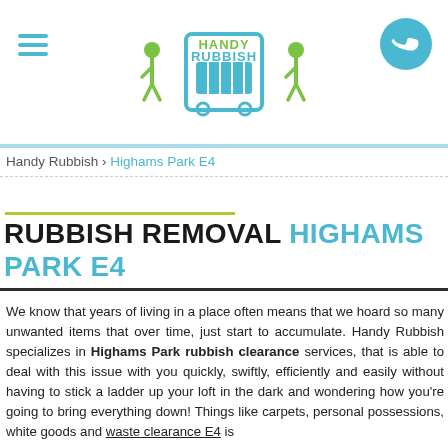[Figure (logo): Handy Rubbish logo with two walking figure icons and a skip bin icon, text reads HANDY RUBBISH]
Handy Rubbish › Highams Park E4
RUBBISH REMOVAL HIGHAMS PARK E4
We know that years of living in a place often means that we hoard so many unwanted items that over time, just start to accumulate. Handy Rubbish specializes in Highams Park rubbish clearance services, that is able to deal with this issue with you quickly, swiftly, efficiently and easily without having to stick a ladder up your loft in the dark and wondering how you're going to bring everything down! Things like carpets, personal possessions, white goods and waste clearance E4 is